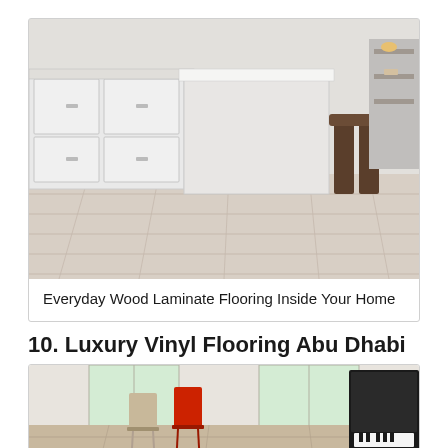[Figure (photo): Photo of a kitchen interior with light gray wood laminate flooring, white cabinets, a white kitchen island, and dark wooden bar stools.]
Everyday Wood Laminate Flooring Inside Your Home
10. Luxury Vinyl Flooring Abu Dhabi
[Figure (photo): Photo of a modern living room with light tan vinyl flooring, colorful modern chairs (beige and red), and a black grand piano on the right side.]